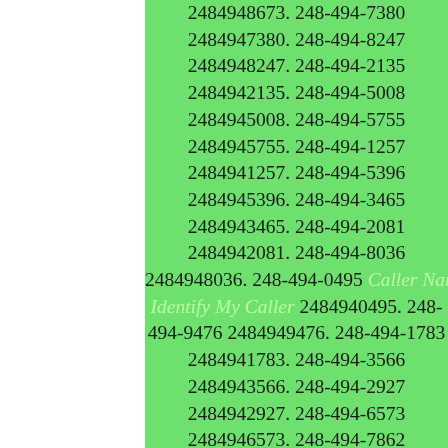2484948673. 248-494-7380 2484947380. 248-494-8247 2484948247. 248-494-2135 2484942135. 248-494-5008 2484945008. 248-494-5755 2484945755. 248-494-1257 2484941257. 248-494-5396 2484945396. 248-494-3465 2484943465. 248-494-2081 2484942081. 248-494-8036 2484948036. 248-494-0495 Caller Name Identify My Caller 2484940495. 248-494-9476 2484949476. 248-494-1783 2484941783. 248-494-3566 2484943566. 248-494-2927 2484942927. 248-494-6573 2484946573. 248-494-7862 2484947862. 248-494-9772 2484949772. 248-494-7274 2484947274. 248-494-7838 2484947838. 248-494-2657 2484942657. 248-494-1385 2484941385. 248-494-8687 2484948687. 248-494-8501 2484948501. 248-494-0661 Caller Name